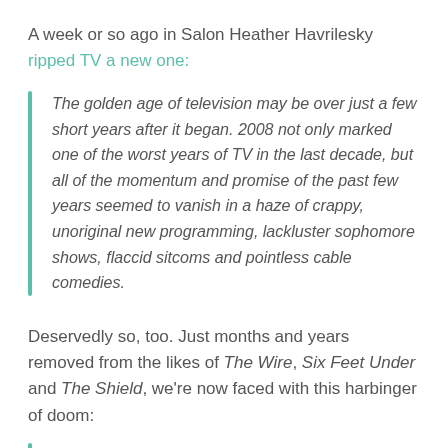A week or so ago in Salon Heather Havrilesky ripped TV a new one:
The golden age of television may be over just a few short years after it began. 2008 not only marked one of the worst years of TV in the last decade, but all of the momentum and promise of the past few years seemed to vanish in a haze of crappy, unoriginal new programming, lackluster sophomore shows, flaccid sitcoms and pointless cable comedies.
Deservedly so, too. Just months and years removed from the likes of The Wire, Six Feet Under and The Shield, we're now faced with this harbinger of doom: